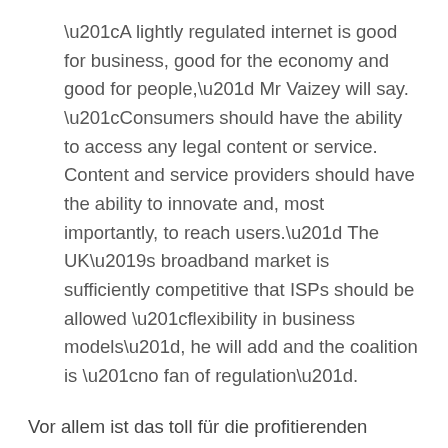“A lightly regulated internet is good for business, good for the economy and good for people,” Mr Vaizey will say. “Consumers should have the ability to access any legal content or service. Content and service providers should have the ability to innovate and, most importantly, to reach users.” The UK’s broadband market is sufficiently competitive that ISPs should be allowed “flexibility in business models”, he will add and the coalition is “no fan of regulation”.
Vor allem ist das toll für die profitierenden Telekommunikationsunternehmen.
Update: Beim Guardian gibt es noch das Transcript der Minister-Rede.